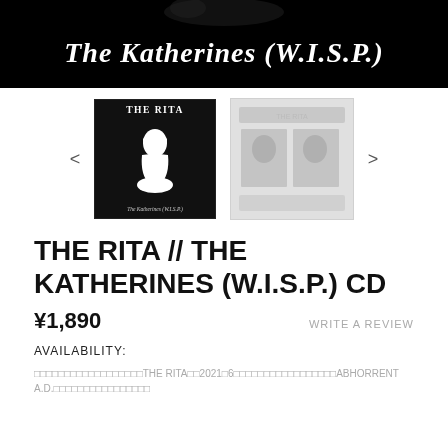[Figure (illustration): Black banner with white gothic/blackletter text reading 'The Katherines (W.I.S.P.)']
[Figure (photo): Two album cover thumbnails side by side with navigation arrows. Left: black album cover with gothic lettering 'THE RITA' and illustrated figure, caption 'The Katherines (W.I.S.P.)'. Right: gray/faded album cover image.]
THE RITA // THE KATHERINES (W.I.S.P.) CD
¥1,890
WRITE A REVIEW
AVAILABILITY:
□□□□□□□□□□□□□□□□□□THE RITA□□2021□6□□□□□□□□□□□□□□□□□ABHORRENT A.D.□□□□□□□□□□□□□□□□